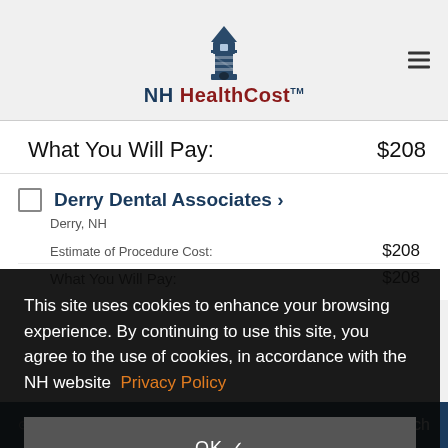[Figure (logo): NH HealthCost lighthouse logo with text]
What You Will Pay: $208
Derry Dental Associates › Derry, NH
Estimate of Procedure Cost: $208
What You Will Pay: $208
This site uses cookies to enhance your browsing experience. By continuing to use this site, you agree to the use of cookies, in accordance with the NH website Privacy Policy
OK ✓
COMPARE SELECTED
Search